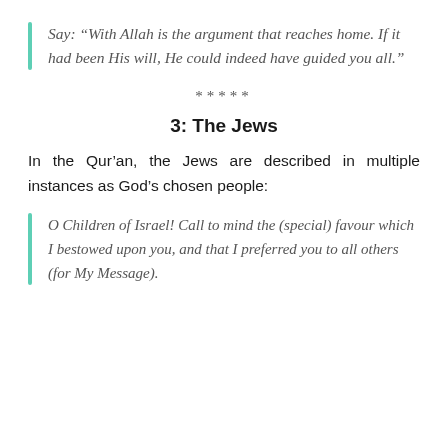Say: “With Allah is the argument that reaches home. If it had been His will, He could indeed have guided you all.”
*****
3: The Jews
In the Qur’an, the Jews are described in multiple instances as God’s chosen people:
O Children of Israel! Call to mind the (special) favour which I bestowed upon you, and that I preferred you to all others (for My Message).